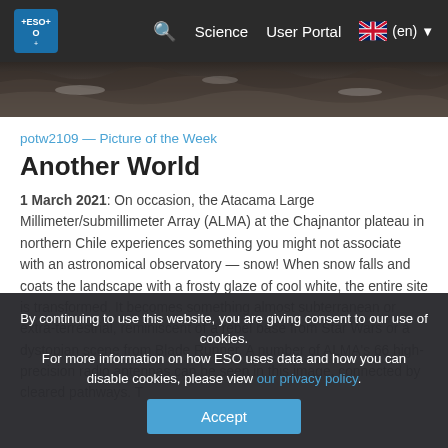ESO — Science | User Portal | (en)
[Figure (photo): Aerial/close-up photograph of rocky/snowy terrain, cropped as a horizontal strip at the top of the page]
potw2109 — Picture of the Week
Another World
1 March 2021: On occasion, the Atacama Large Millimeter/submillimeter Array (ALMA) at the Chajnantor plateau in northern Chile experiences something you might not associate with an astronomical observatory — snow! When snow falls and coats the landscape with a frosty glaze of cool white, the entire site is transformed. It becomes something almost subterranean or extra-terrestrial, reminiscent of a rebel base from Star Wars or a dystopian scene from Blade Runner. A number of ALMA's 66 high-precision radio antennas can be seen in this image, connected by cleared pathways. T…
By continuing to use this website, you are giving consent to our use of cookies.
For more information on how ESO uses data and how you can disable cookies, please view our privacy policy.
[Accept]